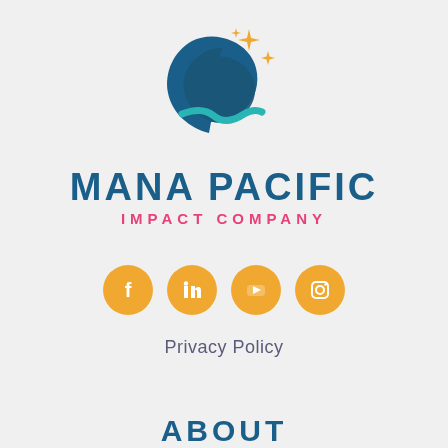[Figure (logo): Mana Pacific wave and stars logo — dark blue stylized wave curl with teal accent wave at bottom, orange four-pointed stars above right]
MANA PACIFIC
IMPACT COMPANY
[Figure (infographic): Four orange circular social media icons in a row: Facebook, LinkedIn, YouTube, Instagram]
Privacy Policy
ABOUT